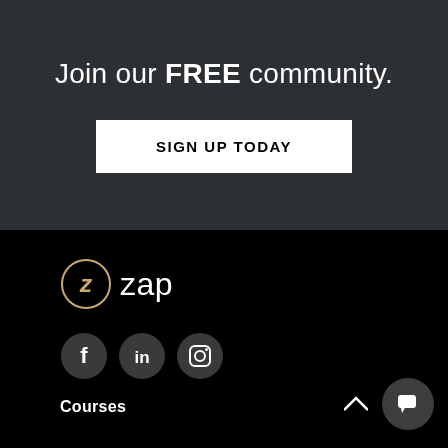Join our FREE community.
SIGN UP TODAY
[Figure (logo): Zap logo: circular gold/tan icon with stylized Z inside a circle, followed by the word 'zap' in white text]
[Figure (illustration): Three circular social media icons: Facebook (f), LinkedIn (in), Instagram (camera icon)]
Courses